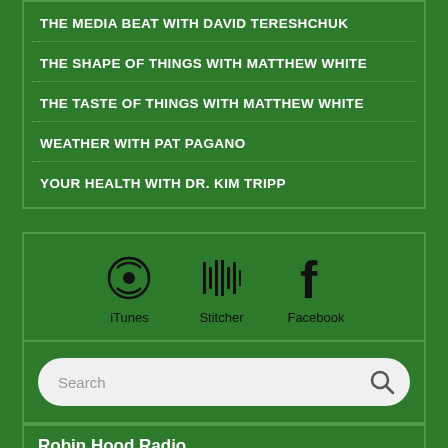THE MEDIA BEAT WITH DAVID TERESHCHUK
THE SHAPE OF THINGS WITH MATTHEW WHITE
THE TASTE OF THINGS WITH MATTHEW WHITE
WEATHER WITH PAT PAGANO
YOUR HEALTH WITH DR. KIM TRIPP
[Figure (infographic): Three social media/platform icons: iTunes podcast icon, Stitcher barcode-style icon, Facebook 'f' icon, each with label below]
Search
Robin Hood Radio